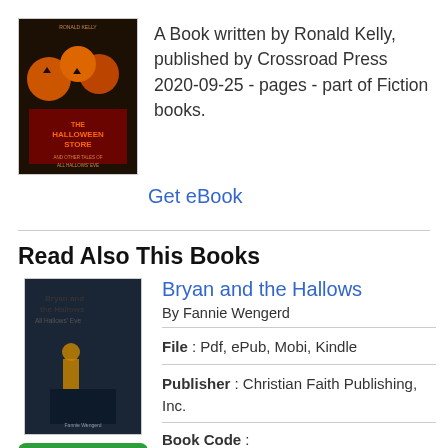[Figure (illustration): Book cover of 'The Halloween Store' by Ronald Kelly, dark orange and black Halloween-themed cover with jack-o-lanterns]
A Book written by Ronald Kelly, published by Crossroad Press 2020-09-25 - pages - part of Fiction books.
Get eBook
Read Also This Books
[Figure (illustration): Book cover of 'Bryan and the Hallows' showing a dark scene with a figure]
Bryan and the Hallows
By Fannie Wengerd
[Figure (other): Green READ PDF button]
File : Pdf, ePub, Mobi, Kindle
Publisher : Christian Faith Publishing, Inc.
Book Code :